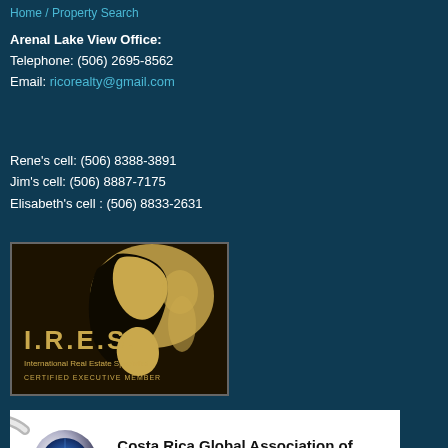Home / Property Search
Arenal Lake View Office:
Telephone: (506) 2695-8562
Email: ricorealty@gmail.com
Rene's cell: (506) 8388-3891
Jim's cell: (506) 8887-7175
Elisabeth's cell : (506) 8833-2631
[Figure (logo): I.R.E.S. International Real Estate Specialist Certified Executive Member logo with world map on dark background]
[Figure (logo): Costa Rica Global Association of REALTORS (CRGAR) logo with silver globe icon]
[Figure (logo): Partial CDI logo visible at bottom right]